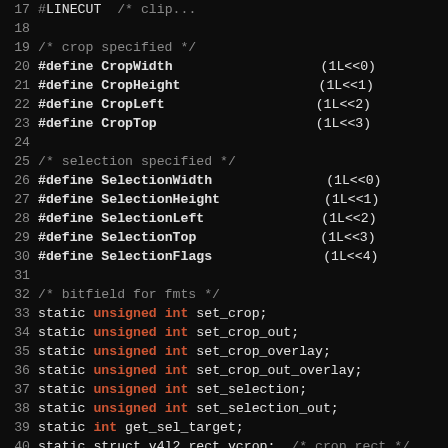Code listing: C source file with crop/selection #define macros and static variable declarations
Lines 17-47 of a C source file showing #define macros for CropWidth, CropHeight, CropLeft, CropTop, SelectionWidth, SelectionHeight, SelectionLeft, SelectionTop, SelectionFlags and static variable declarations for set_crop, set_crop_out, set_crop_overlay, set_crop_out_overlay, set_selection, set_selection_out, get_sel_target, vcrop, vcrop_out, vcrop_overlay, vcrop_out_overlay, vselection, vselection_out, and void selection_usage()